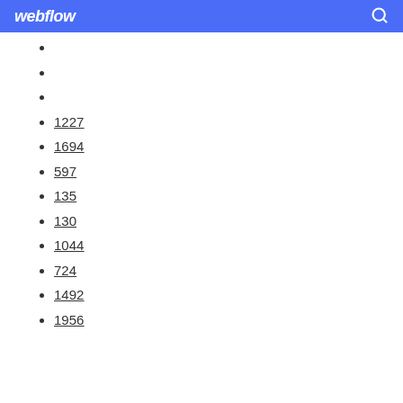webflow
1227
1694
597
135
130
1044
724
1492
1956